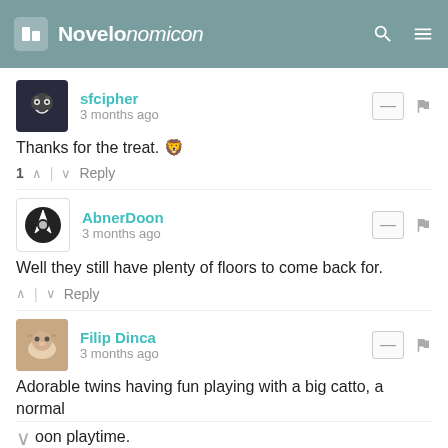Novelonomicon
sfcipher
3 months ago
Thanks for the treat. 🦁
1 ∧ | ∨ Reply
AbnerDoon
3 months ago
Well they still have plenty of floors to come back for.
∧ | ∨ Reply
Filip Dinca
3 months ago
Adorable twins having fun playing with a big catto, a normal oon playtime.
[Figure (infographic): Advertisement: Save Up to $100 on Brakes & Rotors at Virginia Tire & Auto]